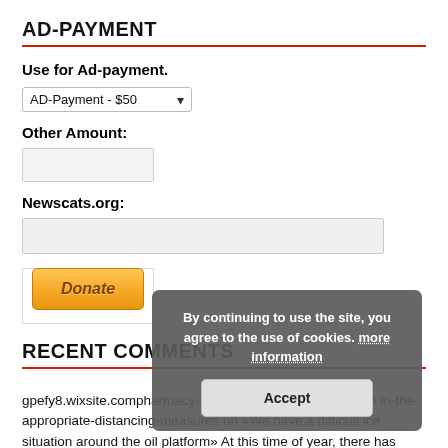AD-PAYMENT
Use for Ad-payment.
AD-Payment - $50 (dropdown)
Other Amount:
Newscats.org:
[Figure (screenshot): PayPal Donate button in a bordered box]
RECENT COMMENTS
gpefy8.wixsite.compha...quency-setting-of-metro-services-with in-the-a...distancing-measures on «We have a difficult ice situation around the oil platform» At this time of year, there has never before been
By continuing to use the site, you agree to the use of cookies. more information
Accept